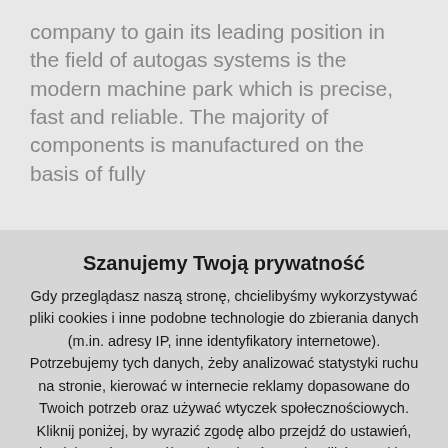company to gain its leading position in the field of autogas systems is the modern machine park which is precise, fast and reliable. The majority of components is manufactured on the basis of fully
Szanujemy Twoją prywatność
Gdy przeglądasz naszą stronę, chcielibyśmy wykorzystywać pliki cookies i inne podobne technologie do zbierania danych (m.in. adresy IP, inne identyfikatory internetowe). Potrzebujemy tych danych, żeby analizować statystyki ruchu na stronie, kierować w internecie reklamy dopasowane do Twoich potrzeb oraz używać wtyczek społecznościowych. Kliknij poniżej, by wyrazić zgodę albo przejdź do ustawień, aby dokonać szczegółowych wyborów co do plików cookies.
Przejdź do ustawień
Zgadzam się